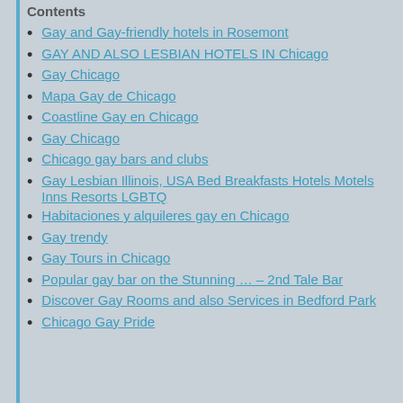Contents
Gay and Gay-friendly hotels in Rosemont
GAY AND ALSO LESBIAN HOTELS IN Chicago
Gay Chicago
Mapa Gay de Chicago
Coastline Gay en Chicago
Gay Chicago
Chicago gay bars and clubs
Gay Lesbian Illinois, USA Bed Breakfasts Hotels Motels Inns Resorts LGBTQ
Habitaciones y alquileres gay en Chicago
Gay trendy
Gay Tours in Chicago
Popular gay bar on the Stunning … – 2nd Tale Bar
Discover Gay Rooms and also Services in Bedford Park
Chicago Gay Pride